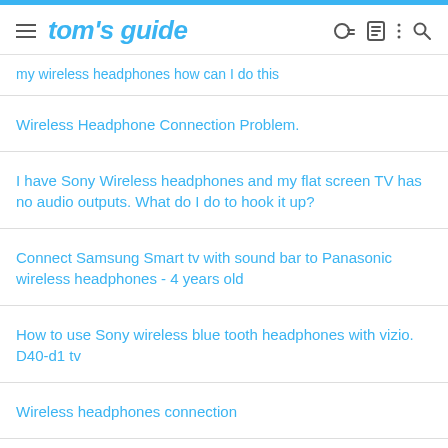tom's guide
my wireless headphones how can I do this
Wireless Headphone Connection Problem.
I have Sony Wireless headphones and my flat screen TV has no audio outputs. What do I do to hook it up?
Connect Samsung Smart tv with sound bar to Panasonic wireless headphones - 4 years old
How to use Sony wireless blue tooth headphones with vizio. D40-d1 tv
Wireless headphones connection